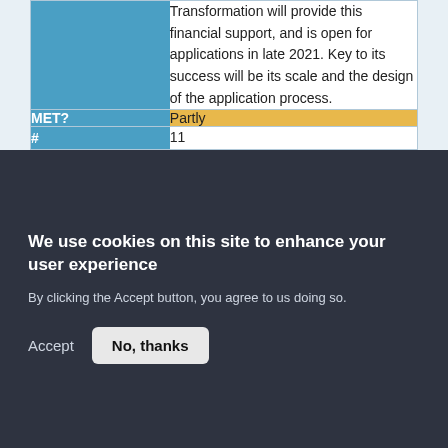|  |  |
| --- | --- |
|  | Transformation will provide this financial support, and is open for applications in late 2021. Key to its success will be its scale and the design of the application process. |
| MET? | Partly |
| # | 11 |
We use cookies on this site to enhance your user experience
By clicking the Accept button, you agree to us doing so.
Accept
No, thanks